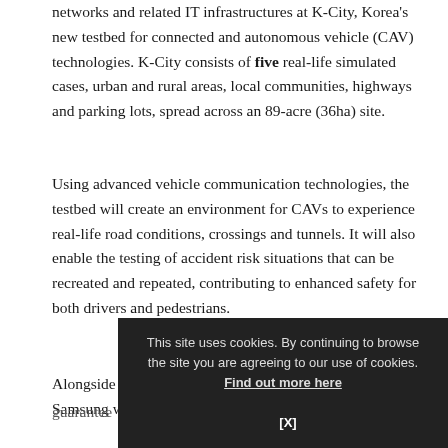networks and related IT infrastructures at K-City, Korea's new testbed for connected and autonomous vehicle (CAV) technologies. K-City consists of five real-life simulated cases, urban and rural areas, local communities, highways and parking lots, spread across an 89-acre (36ha) site.
Using advanced vehicle communication technologies, the testbed will create an environment for CAVs to experience real-life road conditions, crossings and tunnels. It will also enable the testing of accident risk situations that can be recreated and repeated, contributing to enhanced safety for both drivers and pedestrians.
Alongside the implementation of network equipment, Samsung will b... guarantee... K-City. Mobile Ed... 5
This site uses cookies. By continuing to browse the site you are agreeing to our use of cookies. Find out more here [X]